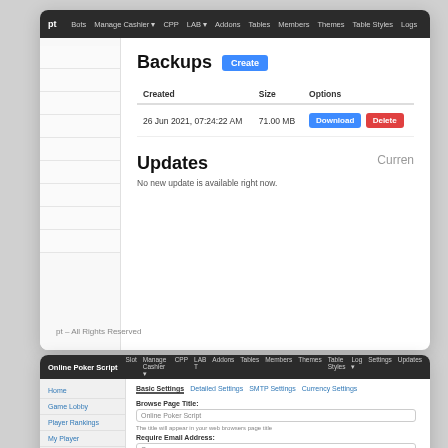pt  Bots  Manage Cashier  CPP  LAB  Addons  Tables  Members  Themes  Table Styles  Logs
Backups
| Created | Size | Options |
| --- | --- | --- |
| 26 Jun 2021, 07:24:22 AM | 71.00 MB | Download | Delete |
Updates
No new update is available right now.
pt – All Rights Reserved
Online Poker Script  Slot  Manage Cashier  CPP  LAB  Addons  Tables  Members  Themes  Table Styles  Logs  Settings  Updates
Home  Game Lobby  Player Rankings  My Player
Basic Settings  Detailed Settings  SMTP Settings  Currency Settings
Browse Page Title:
Online Poker Script
The title will appear in your web browsers page title
Require Email Address:
On